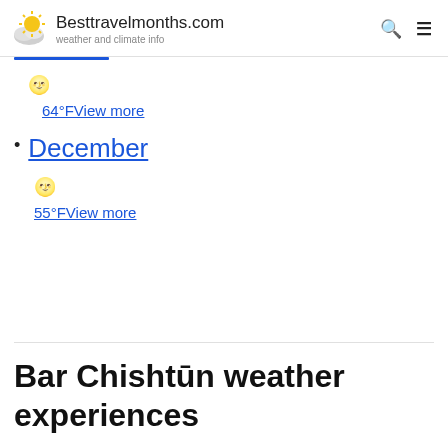Besttravelmonths.com – weather and climate info
64°FView more
December
55°FView more
Bar Chishtūn weather experiences